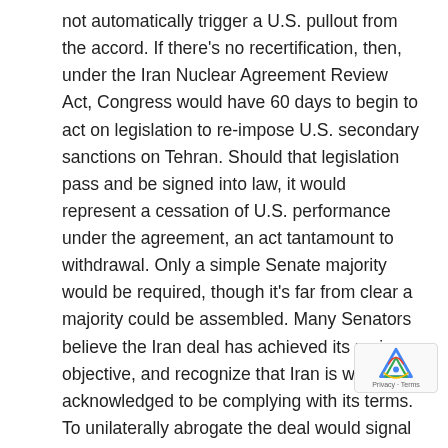not automatically trigger a U.S. pullout from the accord. If there's no recertification, then, under the Iran Nuclear Agreement Review Act, Congress would have 60 days to begin to act on legislation to re-impose U.S. secondary sanctions on Tehran. Should that legislation pass and be signed into law, it would represent a cessation of U.S. performance under the agreement, an act tantamount to withdrawal. Only a simple Senate majority would be required, though it's far from clear a majority could be assembled. Many Senators believe the Iran deal has achieved its main objective, and recognize that Iran is widely acknowledged to be complying with its terms. To unilaterally abrogate the deal would signal to U.S. partners the United States is not reliable and to North Korea that a similar agreement could also be subject to a sudden U.S. withdrawal.
Were the U.S. to re-impose sanctions nonetheless, the agreement would almost certainly collapse, even though the